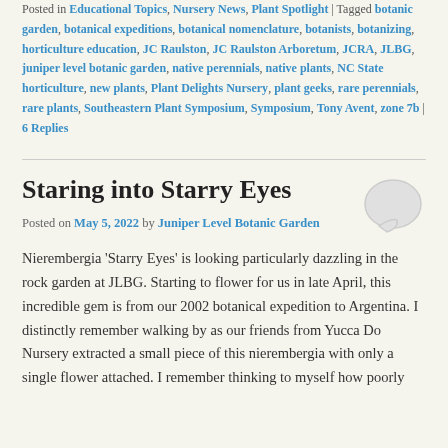Posted in Educational Topics, Nursery News, Plant Spotlight | Tagged botanic garden, botanical expeditions, botanical nomenclature, botanists, botanizing, horticulture education, JC Raulston, JC Raulston Arboretum, JCRA, JLBG, juniper level botanic garden, native perennials, native plants, NC State horticulture, new plants, Plant Delights Nursery, plant geeks, rare perennials, rare plants, Southeastern Plant Symposium, Symposium, Tony Avent, zone 7b | 6 Replies
Staring into Starry Eyes
Posted on May 5, 2022 by Juniper Level Botanic Garden
Nierembergia 'Starry Eyes' is looking particularly dazzling in the rock garden at JLBG. Starting to flower for us in late April, this incredible gem is from our 2002 botanical expedition to Argentina. I distinctly remember walking by as our friends from Yucca Do Nursery extracted a small piece of this nierembergia with only a single flower attached. I remember thinking to myself how poorly